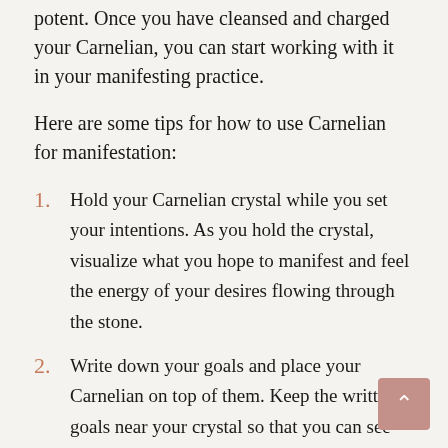potent. Once you have cleansed and charged your Carnelian, you can start working with it in your manifesting practice.
Here are some tips for how to use Carnelian for manifestation:
1. Hold your Carnelian crystal while you set your intentions. As you hold the crystal, visualize what you hope to manifest and feel the energy of your desires flowing through the stone.
2. Write down your goals and place your Carnelian on top of them. Keep the written goals near your crystal so that you can see them often and be reminded of what